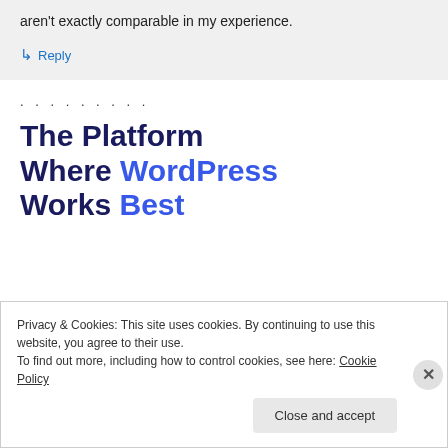aren't exactly comparable in my experience.
↳ Reply
. . . . . . . . .
The Platform Where WordPress Works Best
Privacy & Cookies: This site uses cookies. By continuing to use this website, you agree to their use.
To find out more, including how to control cookies, see here: Cookie Policy
Close and accept